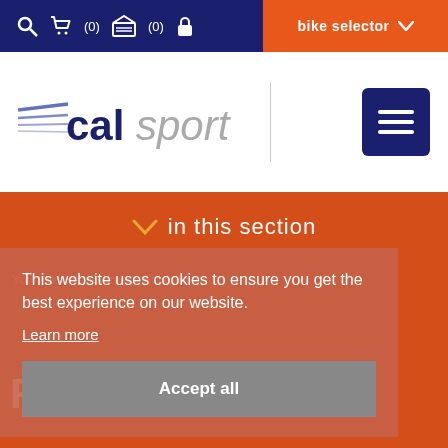Search Cart (0) Garage (0) Lock | bike selector
[Figure (logo): Calsport logo with speed lines, text 'cal' in dark blue and 'sport' in grey italic]
in this section
You are here: Home > Finance
This website uses cookies to ensure you get the best experience on our website.
Learn more
Accept all
Finance